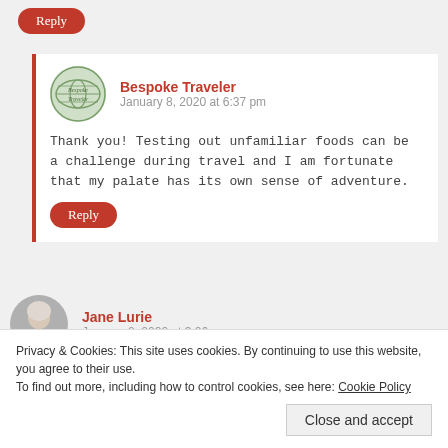Reply
Bespoke Traveler
January 8, 2020 at 6:37 pm
Thank you! Testing out unfamiliar foods can be a challenge during travel and I am fortunate that my palate has its own sense of adventure.
Reply
Jane Lurie
January 8, 2020 at 3:06 pm
Oh yes, Atrevue, whats way to start a day in Barcelona. Your
Privacy & Cookies: This site uses cookies. By continuing to use this website, you agree to their use.
To find out more, including how to control cookies, see here: Cookie Policy
Close and accept